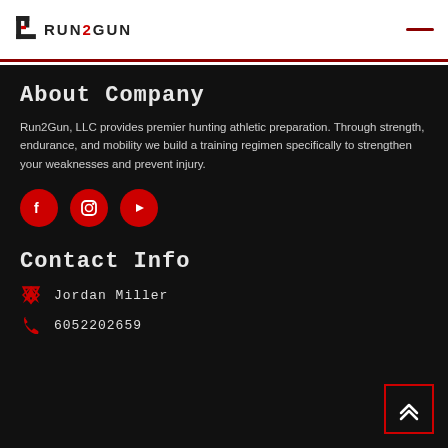RUN2GUN
About Company
Run2Gun, LLC provides premier hunting athletic preparation. Through strength, endurance, and mobility we build a training regimen specifically to strengthen your weaknesses and prevent injury.
[Figure (infographic): Social media icons: Facebook, Instagram, YouTube — all red circles with white icons]
Contact Info
Jordan Miller
6052202659